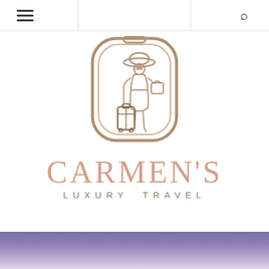Navigation header with hamburger menu and search icon
[Figure (logo): Carmen's Luxury Travel logo: an airplane window frame (rounded rectangle) containing a stylized woman in a wide-brimmed hat, white outfit, carrying a handbag and rolling suitcase, drawn in tan/gold line art style. Below the icon, the text CARMEN'S in large serif rose-gold letters, and LUXURY TRAVEL in spaced sans-serif taupe letters.]
[Figure (photo): Partial view of a twilight/sunset landscape photo at the bottom of the page, showing a purple and lavender sky near the horizon.]